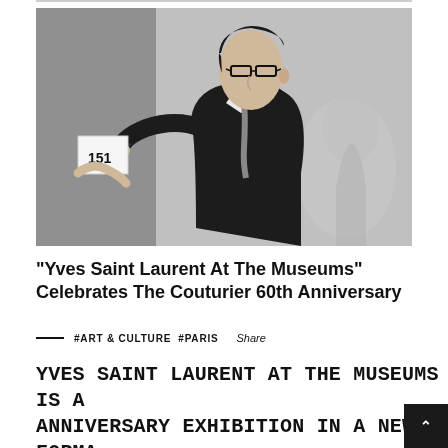[Figure (photo): Black and white photograph of Yves Saint Laurent, a young man wearing dark-rimmed glasses and a dark sweater, writing or signing something on a small card attached to a wooden wall. A blurred figure is visible in the background.]
“Yves Saint Laurent At The Museums” Celebrates The Couturier 60th Anniversary
#ART & CULTURE #PARIS  Share
YVES SAINT LAURENT AT THE MUSEUMS IS A ANNIVERSARY EXHIBITION IN A NEW FORMAT